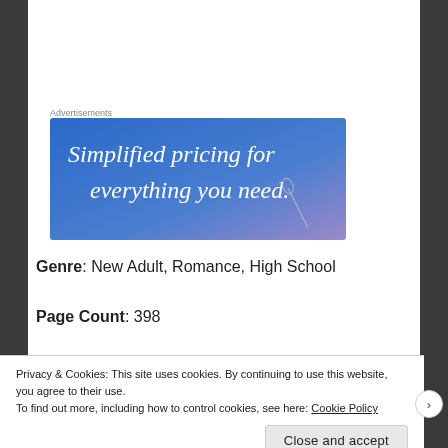Advertisements
[Figure (illustration): Advertisement banner with blue-to-purple gradient background and white serif text reading 'Simplified pricing for everything you need.' with a small pen/needle graphic in the lower right corner.]
Genre: New Adult, Romance, High School
Page Count: 398
Privacy & Cookies: This site uses cookies. By continuing to use this website, you agree to their use.
To find out more, including how to control cookies, see here: Cookie Policy
Close and accept